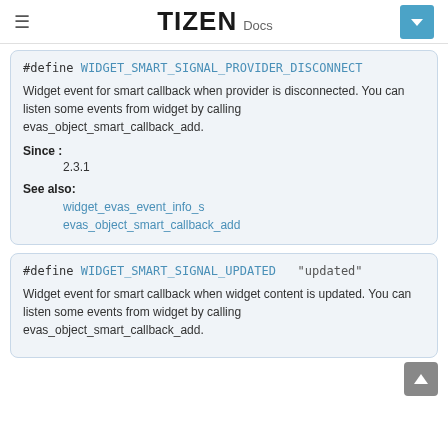TIZEN Docs
#define WIDGET_SMART_SIGNAL_PROVIDER_DISCONNECT
Widget event for smart callback when provider is disconnected. You can listen some events from widget by calling evas_object_smart_callback_add.
Since : 2.3.1
See also: widget_evas_event_info_s, evas_object_smart_callback_add
#define WIDGET_SMART_SIGNAL_UPDATED   "updated"
Widget event for smart callback when widget content is updated. You can listen some events from widget by calling evas_object_smart_callback_add.